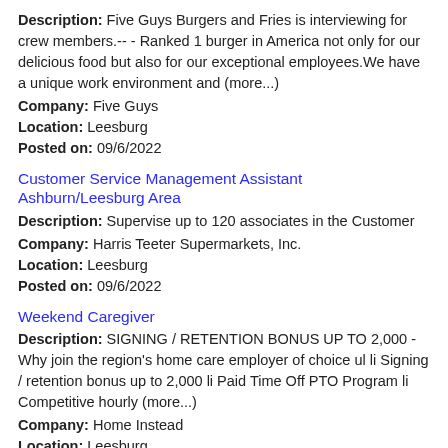Description: Five Guys Burgers and Fries is interviewing for crew members.-- - Ranked 1 burger in America not only for our delicious food but also for our exceptional employees.We have a unique work environment and (more...)
Company: Five Guys
Location: Leesburg
Posted on: 09/6/2022
Customer Service Management Assistant Ashburn/Leesburg Area
Description: Supervise up to 120 associates in the Customer
Company: Harris Teeter Supermarkets, Inc.
Location: Leesburg
Posted on: 09/6/2022
Weekend Caregiver
Description: SIGNING / RETENTION BONUS UP TO 2,000 -Why join the region's home care employer of choice ul li Signing / retention bonus up to 2,000 li Paid Time Off PTO Program li Competitive hourly (more...)
Company: Home Instead
Location: Leesburg
Posted on: 09/6/2022